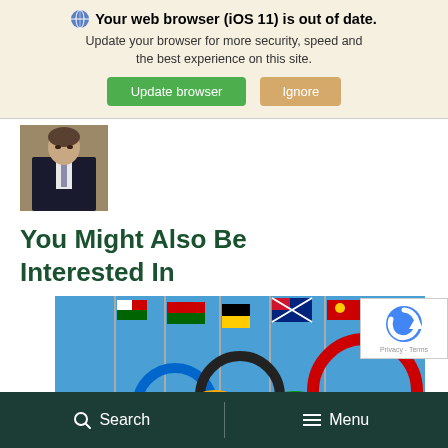Your web browser (iOS 11) is out of date. Update your browser for more security, speed and the best experience on this site.
[Figure (screenshot): Person in a suit and tie, profile/headshot photo]
You Might Also Be Interested In
[Figure (photo): Olympic rings with colorful national flags on flagpoles against a blue sky]
[Figure (logo): reCAPTCHA logo overlay with Privacy - Terms text]
Search   Menu